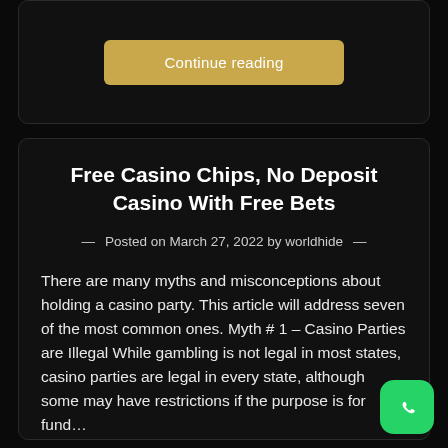[Figure (screenshot): Continue reading button (gold/tan colored button on dark card background) at top of page]
Free Casino Chips, No Deposit Casino With Free Bets
— Posted on March 27, 2022 by worldhide —
There are many myths and misconceptions about holding a casino party. This article will address seven of the most common ones. Myth # 1 – Casino Parties are Illegal While gambling is not legal in most states, casino parties are legal in every state, although some may have restrictions if the purpose is for fund…
[Figure (screenshot): Continue reading button (gold/tan colored button) at bottom of article card]
[Figure (logo): WhatsApp green icon button in bottom right corner]